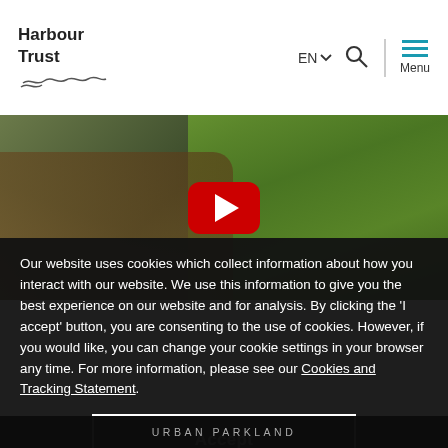Harbour Trust
[Figure (screenshot): YouTube video thumbnail showing hands touching green fern fronds with a red YouTube play button in the center]
Our website uses cookies which collect information about how you interact with our website. We use this information to give you the best experience on our website and for analysis. By clicking the 'I accept' button, you are consenting to the use of cookies. However, if you would like, you can change your cookie settings in your browser any time. For more information, please see our Cookies and Tracking Statement.
Accept
URBAN PARKLAND